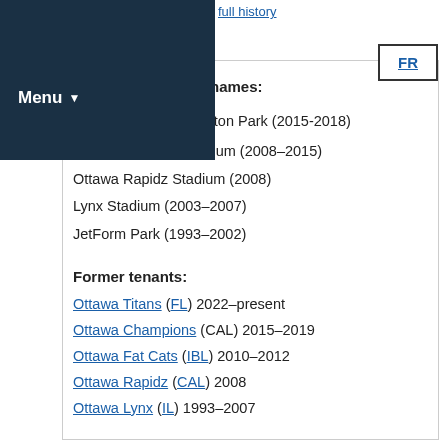...full history
names:
d Chabot Grant Thornton Park (2015-2018)
Ottawa Baseball Stadium (2008–2015)
Ottawa Rapidz Stadium (2008)
Lynx Stadium (2003–2007)
JetForm Park (1993–2002)
Former tenants:
Ottawa Titans (FL) 2022–present
Ottawa Champions (CAL) 2015–2019
Ottawa Fat Cats (IBL) 2010–2012
Ottawa Rapidz (CAL) 2008
Ottawa Lynx (IL) 1993–2007
Register for updates
Key Dates